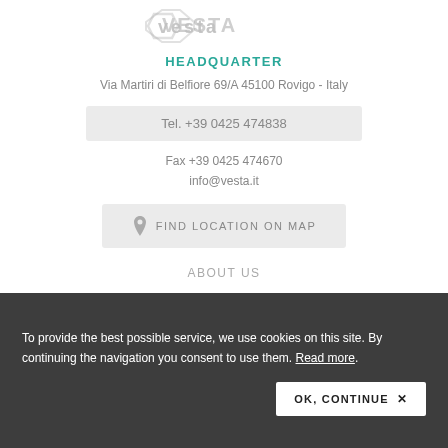[Figure (logo): VESTA company logo, gray stylized letters]
HEADQUARTER
Via Martiri di Belfiore 69/A 45100 Rovigo - Italy
Tel. +39 0425 474838
Fax +39 0425 474670
info@vesta.it
FIND LOCATION ON MAP
ABOUT US
History
Mission and values
Certified Quality
To provide the best possible service, we use cookies on this site. By continuing the navigation you consent to use them. Read more.
OK, CONTINUE ✕